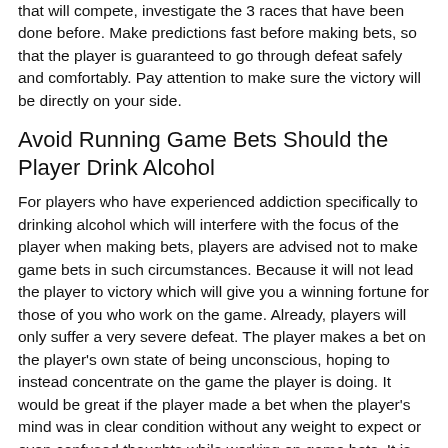that will compete, investigate the 3 races that have been done before. Make predictions fast before making bets, so that the player is guaranteed to go through defeat safely and comfortably. Pay attention to make sure the victory will be directly on your side.
Avoid Running Game Bets Should the Player Drink Alcohol
For players who have experienced addiction specifically to drinking alcohol which will interfere with the focus of the player when making bets, players are advised not to make game bets in such circumstances. Because it will not lead the player to victory which will give you a winning fortune for those of you who work on the game. Already, players will only suffer a very severe defeat. The player makes a bet on the player's own state of being unconscious, hoping to instead concentrate on the game the player is doing. It would be great if the player made a bet when the player's mind was in clear condition without any weight to expect or even confused thoughts while working on game bets. It is clear if this one step is the easiest step to bring